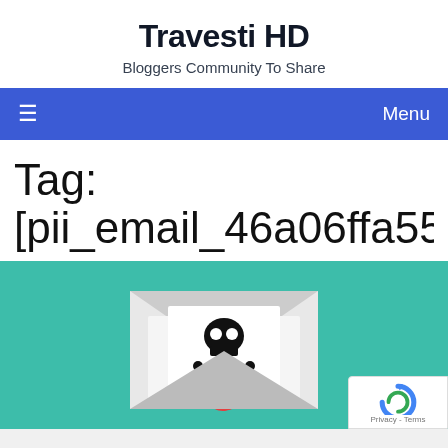Travesti HD
Bloggers Community To Share
≡   Menu
Tag: [pii_email_46a06ffa55d4c0c6797
[Figure (illustration): Email envelope with skull and crossbones icon and @ symbol on teal background, representing spam or phishing email concept]